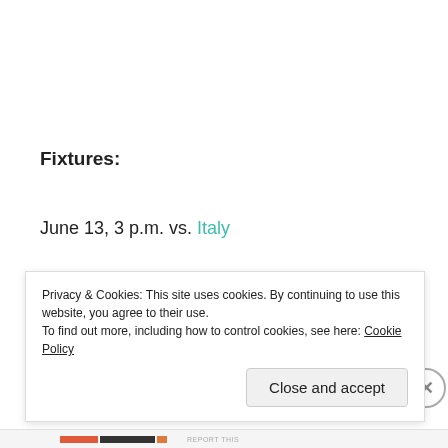Fixtures:
June 13, 3 p.m. vs. Italy
June 18, 9 a.m. vs. Ireland
June 22, 3 p.m. vs. Sweden
Privacy & Cookies: This site uses cookies. By continuing to use this website, you agree to their use.
To find out more, including how to control cookies, see here: Cookie Policy
Close and accept